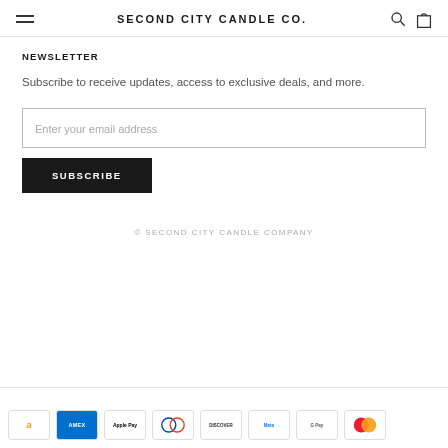SECOND CITY CANDLE CO.
NEWSLETTER
Subscribe to receive updates, access to exclusive deals, and more.
Enter your email address
SUBSCRIBE
© SECOND CITY CANDLE COMPANY
[Figure (other): Payment method icons: Amazon, American Express, Apple Pay, Diners Club, Discover, Meta Pay, Google Pay, Mastercard]